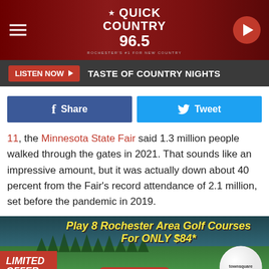[Figure (screenshot): Quick Country 96.5 radio station website header with logo, hamburger menu, and play button]
LISTEN NOW ▶  TASTE OF COUNTRY NIGHTS
[Figure (infographic): Facebook Share and Twitter Tweet social sharing buttons]
11, the Minnesota State Fair said 1.3 million people walked through the gates in 2021. That sounds like an impressive amount, but it was actually down about 40 percent from the Fair's record attendance of 2.1 million, set before the pandemic in 2019.
[Figure (infographic): Advertisement: Play 8 Rochester Area Golf Courses For ONLY $84* LIMITED OFFER - Buy Now - townsquare 2022 Golf Card. *price after 15% discount using promo code: GOLF]